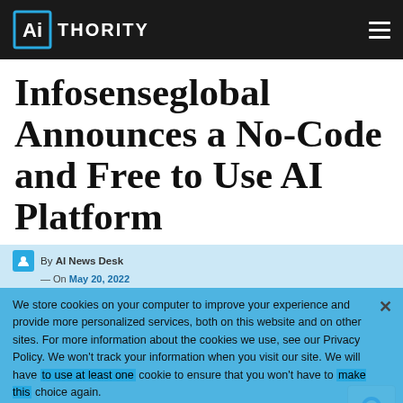AIthority
Infosenseglobal Announces a No-Code and Free to Use AI Platform
By AI News Desk
— On May 20, 2022
We store cookies on your computer to improve your experience and provide more personalized services, both on this website and on other sites. For more information about the cookies we use, see our Privacy Policy. We won't track your information when you visit our site. We will have to use at least one cookie to ensure that you won't have to make this choice again.
Accept   Decline   Privacy Policy
Share
Infosenseglobal announced the community